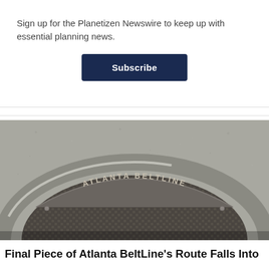Sign up for the Planetizen Newswire to keep up with essential planning news.
Subscribe
[Figure (photo): Close-up photograph of an Atlanta BeltLine manhole cover set in concrete pavement. The circular metal cover has a raised diamond-plate pattern and features an arched banner reading 'ATLANTA BELTLINE' across the top.]
Final Piece of Atlanta BeltLine's Route Falls Into